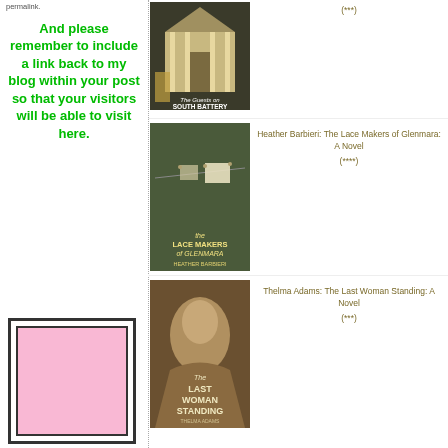permalink.
And please remember to include a link back to my blog within your post so that your visitors will be able to visit here.
[Figure (illustration): Pink rectangular box with black border on a white background]
[Figure (photo): Book cover: The Guests on South Battery - shows a Southern mansion with pillars and gate, dark background]
(***)
[Figure (photo): Book cover: The Lace Makers of Glenmara by Heather Barbieri - shows clothesline with lace items on a green background]
Heather Barbieri: The Lace Makers of Glenmara: A Novel
(****)
[Figure (photo): Book cover: The Last Woman Standing by Thelma Adams - shows a sepia portrait of a woman in vintage dress]
Thelma Adams: The Last Woman Standing: A Novel
(***)